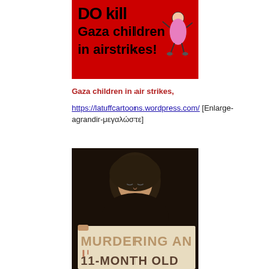[Figure (illustration): Red background protest poster showing text 'DO Kill Gaza children in airstrikes!' with cartoon of a child figure in pink clothing]
Gaza children in air strikes, https://latuffcartoons.wordpress.com/ [Enlarge-agrandir-μεγαλώστε]
[Figure (photo): Black and white photograph of a woman wearing a hijab looking down, holding a protest sign that reads 'MURDERING AN 11-MONTH OLD']